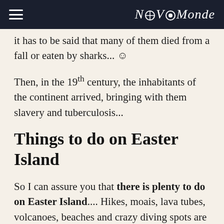NovoMonde
it has to be said that many of them died from a fall or eaten by sharks... ☺
Then, in the 19th century, the inhabitants of the continent arrived, bringing with them slavery and tuberculosis...
Things to do on Easter Island
So I can assure you that there is plenty to do on Easter Island.... Hikes, moais, lava tubes, volcanoes, beaches and crazy diving spots are waiting for you! To get an idea, here is a map of the island we made: